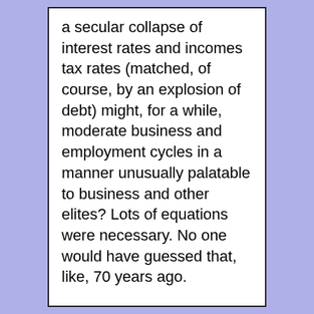a secular collapse of interest rates and incomes tax rates (matched, of course, by an explosion of debt) might, for a while, moderate business and employment cycles in a manner unusually palatable to business and other elites? Lots of equations were necessary. No one would have guessed that, like, 70 years ago.

The bit I've quoted is